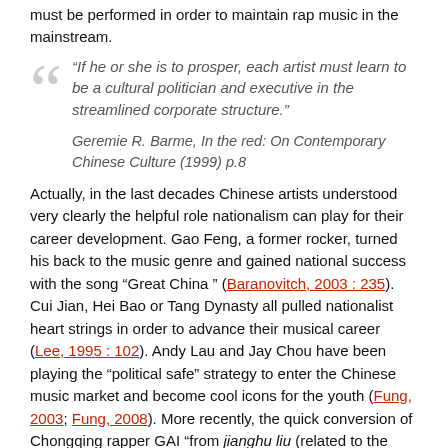must be performed in order to maintain rap music in the mainstream.
“If he or she is to prosper, each artist must learn to be a cultural politician and executive in the streamlined corporate structure.”
Geremie R. Barme, In the red: On Contemporary Chinese Culture (1999) p.8
Actually, in the last decades Chinese artists understood very clearly the helpful role nationalism can play for their career development. Gao Feng, a former rocker, turned his back to the music genre and gained national success with the song “Great China ” (Baranovitch, 2003 : 235). Cui Jian, Hei Bao or Tang Dynasty all pulled nationalist heart strings in order to advance their musical career (Lee, 1995 : 102). Andy Lau and Jay Chou have been playing the “political safe” strategy to enter the Chinese music market and become cool icons for the youth (Fung, 2003; Fung, 2008). More recently, the quick conversion of Chongqing rapper GAI “from jianghu liu (related to the Chinese underground societies) to xinhua liu” (in line with the national news agency) has been fueling the idea that artists have to endorse the official narratives if they want to flourish in the mainstream (Liu, 2019). Nationalism in music also works as a means for up-and-coming